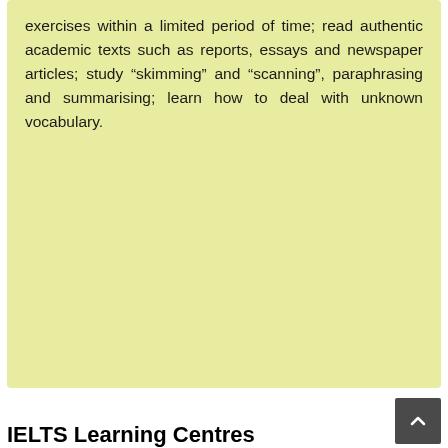exercises within a limited period of time; read authentic academic texts such as reports, essays and newspaper articles; study “skimming” and “scanning”, paraphrasing and summarising; learn how to deal with unknown vocabulary.
IELTS Learning Centres